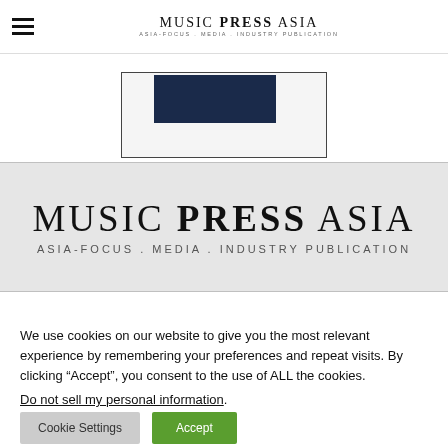MUSIC PRESS ASIA — ASIA-FOCUS . MEDIA . INDUSTRY PUBLICATION
[Figure (screenshot): Partial cropped image showing a publication cover with dark navy rectangle element]
[Figure (logo): Music Press Asia logo banner on light grey background. Large serif text reading MUSIC PRESS ASIA with subtitle ASIA-FOCUS . MEDIA . INDUSTRY PUBLICATION]
We use cookies on our website to give you the most relevant experience by remembering your preferences and repeat visits. By clicking “Accept”, you consent to the use of ALL the cookies.
Do not sell my personal information.
Cookie Settings
Accept